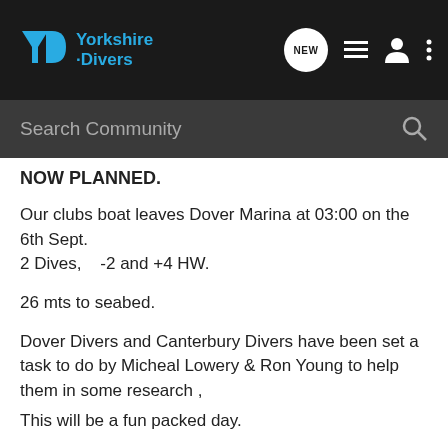Yorkshire Divers
NOW PLANNED.
Our clubs boat leaves Dover Marina at 03:00 on the 6th Sept.
2 Dives,    -2 and +4 HW.
26 mts to seabed.
Dover Divers and Canterbury Divers have been set a task to do by Micheal Lowery & Ron Young to help them in some research ,
This will be a fun packed day.
Andy